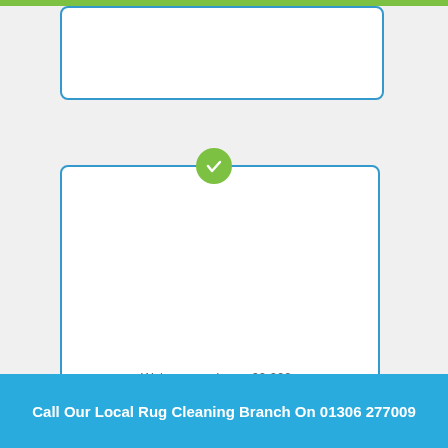[Figure (screenshot): Top portion of a web UI card with blue border, partially visible at top of page]
[Figure (screenshot): Main white card with blue border and green checkmark circle at top center, containing text 'We've served over 60,000+']
happy customers!
Call Our Local Rug Cleaning Branch On 01306 277009